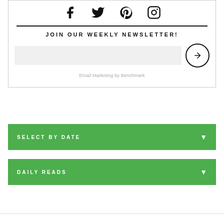[Figure (infographic): Social media icons: Facebook, Twitter, Pinterest, Instagram]
JOIN OUR WEEKLY NEWSLETTER!
[Figure (other): Email input field with arrow submit button]
Email Marketing by Benchmark
SELECT BY DATE
DAILY READS